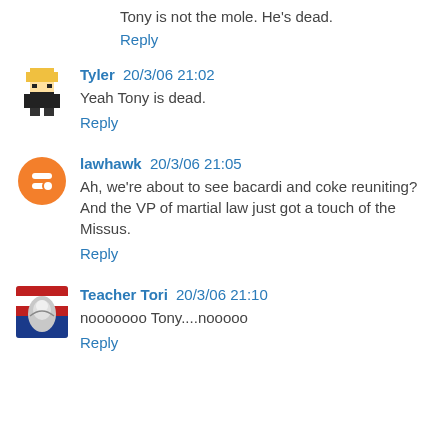Tony is not the mole. He's dead.
Reply
Tyler 20/3/06 21:02
Yeah Tony is dead.
Reply
lawhawk 20/3/06 21:05
Ah, we're about to see bacardi and coke reuniting? And the VP of martial law just got a touch of the Missus.
Reply
Teacher Tori 20/3/06 21:10
nooooooo Tony....nooooo
Reply